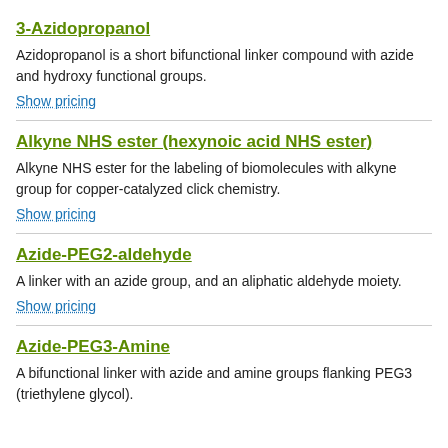3-Azidopropanol
Azidopropanol is a short bifunctional linker compound with azide and hydroxy functional groups.
Show pricing
Alkyne NHS ester (hexynoic acid NHS ester)
Alkyne NHS ester for the labeling of biomolecules with alkyne group for copper-catalyzed click chemistry.
Show pricing
Azide-PEG2-aldehyde
A linker with an azide group, and an aliphatic aldehyde moiety.
Show pricing
Azide-PEG3-Amine
A bifunctional linker with azide and amine groups flanking PEG3 (triethylene glycol).